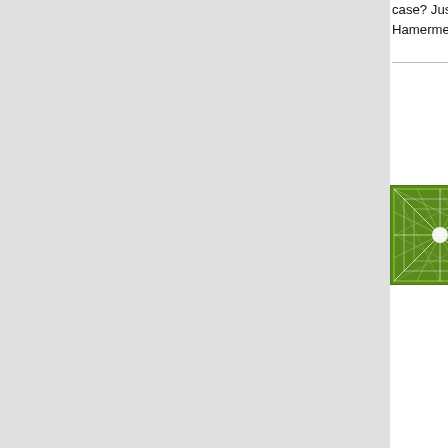case? Just pay a look at the su... Hamermesh.
[Figure (illustration): Green geometric/lattice square avatar icon with white line pattern on green background]
This discussion interests me ri... large-scale commissioned lit re... econ. I have plowed through u... the form of natural experiments... experiments. Of course, they c... supposed to make sense of all...
More than ever, I think econom... be looking for, which is ultimate... that "science" (natural science)...
Wrong expectation: to find gen... absence of countervailing circu... local conditions. This reflects a... largely work this way (exceptio...
Right expectation: to find mech... factors within a system influe... going from a description of a lo... expectations -- an inductive ra... of science, think of the biolog...